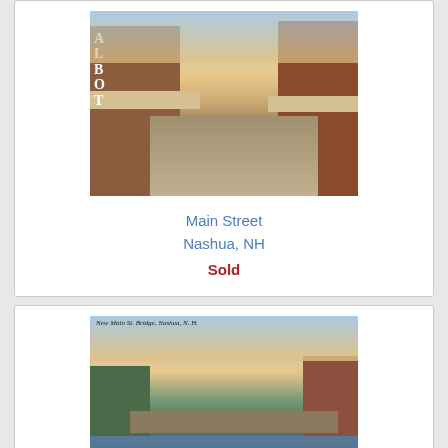[Figure (photo): Vintage colorized postcard of Main Street in Nashua, NH showing brick buildings with awnings on both sides of a wide street, church steeple in background, people and storefronts visible. A sign reading 'ALBOT' is visible on the left building.]
Main Street
Nashua, NH
Sold
[Figure (photo): Vintage colorized postcard of New Main St. Bridge in Nashua, NH showing a bridge spanning a river with trees on the left bank, brick industrial buildings on the right, and calm water in the foreground. Caption text on the postcard reads 'New Main St. Bridge, Nashua, N.H.']